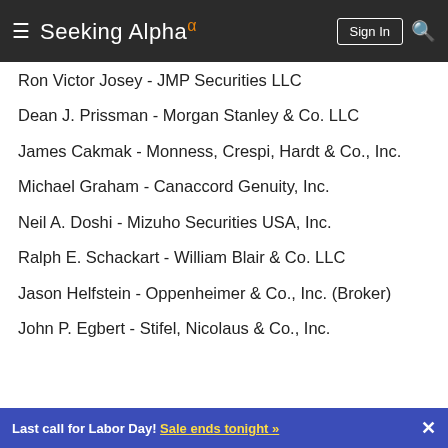Seeking Alpha
Ron Victor Josey - JMP Securities LLC
Dean J. Prissman - Morgan Stanley & Co. LLC
James Cakmak - Monness, Crespi, Hardt & Co., Inc.
Michael Graham - Canaccord Genuity, Inc.
Neil A. Doshi - Mizuho Securities USA, Inc.
Ralph E. Schackart - William Blair & Co. LLC
Jason Helfstein - Oppenheimer & Co., Inc. (Broker)
John P. Egbert - Stifel, Nicolaus & Co., Inc.
Last call for Labor Day! Sale ends tonight »